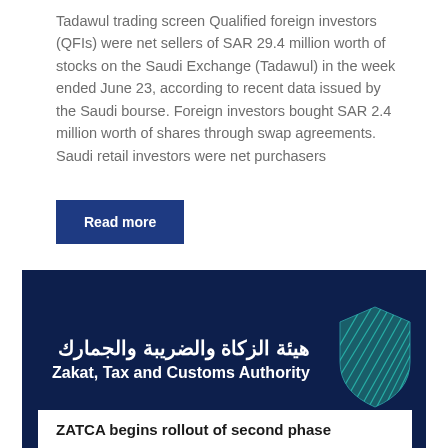Tadawul trading screen Qualified foreign investors (QFIs) were net sellers of SAR 29.4 million worth of stocks on the Saudi Exchange (Tadawul) in the week ended June 23, according to recent data issued by the Saudi bourse. Foreign investors bought SAR 2.4 million worth of shares through swap agreements. Saudi retail investors were net purchasers
Read more
[Figure (logo): ZATCA (Zakat, Tax and Customs Authority) logo banner on dark navy background, with Arabic text هيئة الزكاة والضريبة والجمارك and English text Zakat, Tax and Customs Authority, alongside a teal/green shield graphic on the right.]
ZATCA begins rollout of second phase